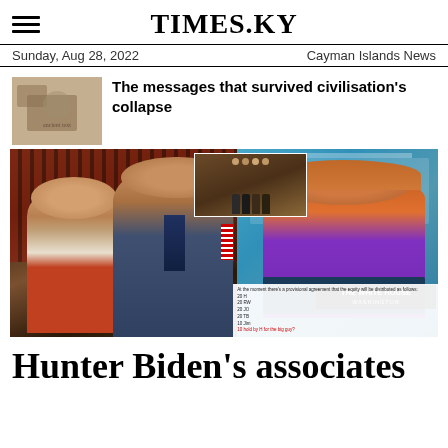TIMES.KY
Sunday, Aug 28, 2022 — Cayman Islands News
The messages that survived civilisation's collapse
[Figure (photo): Composite news photo: left side shows two men taking a selfie (Biden and Hunter Biden), center inset shows a group photo of men in suits, right side shows a woman in purple speaking at a White House podium. Bottom inset shows a text message screenshot.]
Hunter Biden's associates